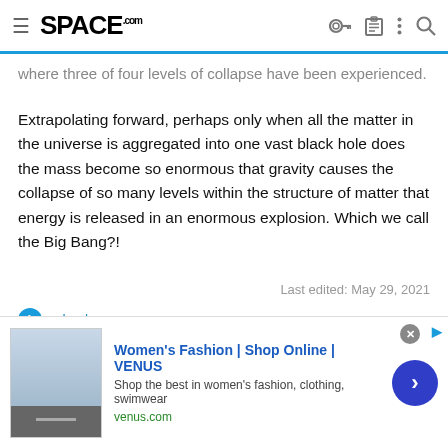SPACE.com
where three of four levels of collapse have been experienced.
Extrapolating forward, perhaps only when all the matter in the universe is aggregated into one vast black hole does the mass become so enormous that gravity causes the collapse of so many levels within the structure of matter that energy is released in an enormous explosion. Which we call the Big Bang?!
Last edited: May 29, 2021
rabsal
voidpotentialenergy
[Figure (screenshot): Advertisement banner for Women's Fashion | Shop Online | VENUS showing clothing image, title, subtitle 'Shop the best in women's fashion, clothing, swimwear', URL venus.com, and a blue circular arrow button]